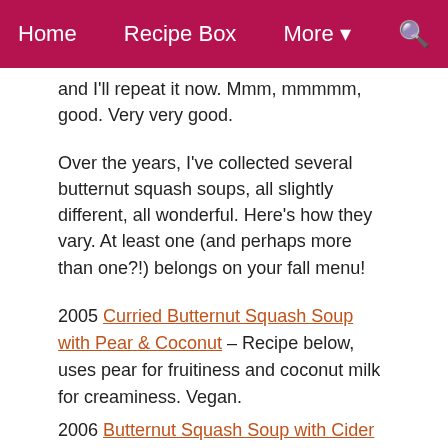Home   Recipe Box   More   [search]
and I'll repeat it now. Mmm, mmmmm, good. Very very good.
Over the years, I've collected several butternut squash soups, all slightly different, all wonderful. Here's how they vary. At least one (and perhaps more than one?!) belongs on your fall menu!
2005 Curried Butternut Squash Soup with Pear & Coconut – Recipe below, uses pear for fruitiness and coconut milk for creaminess. Vegan.
2006 Butternut Squash Soup with Cider Cream – Uses apple and apple cider for fruitiness. Vegetarian.
2007 Simple Butternut Squash Soup – Quick to